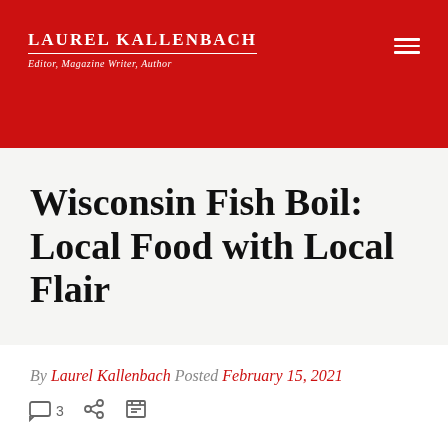LAUREL KALLENBACH — Editor, Magazine Writer, Author
Wisconsin Fish Boil: Local Food with Local Flair
By Laurel Kallenbach  Posted February 15, 2021